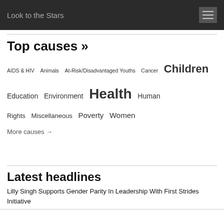Look to the Stars
Top causes »
AIDS & HIV   Animals   At-Risk/Disadvantaged Youths   Cancer   Children   Education   Environment   Health   Human Rights   Miscellaneous   Poverty   Women
More causes →
Latest headlines
Lilly Singh Supports Gender Parity In Leadership With First Strides Initiative